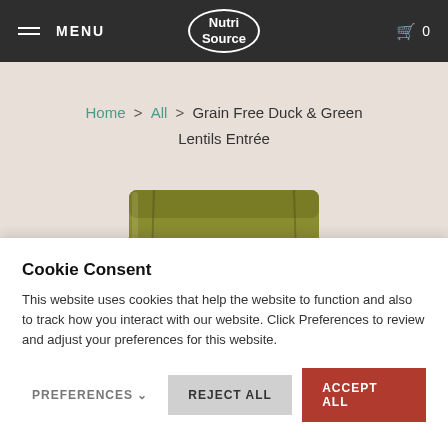MENU | NutriSource | 0
Home > All > Grain Free Duck & Green Lentils Entrée
[Figure (photo): Olive/dark yellow NutriSource pet food bag partially shown, with NutriSource logo visible on the front]
Cookie Consent
This website uses cookies that help the website to function and also to track how you interact with our website. Click Preferences to review and adjust your preferences for this website.
PREFERENCES  REJECT ALL  ACCEPT ALL